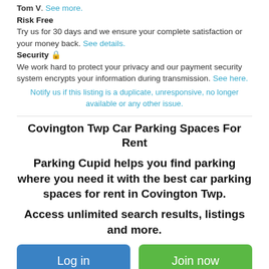Tom V. See more. Risk Free Try us for 30 days and we ensure your complete satisfaction or your money back. See details. Security 🔒 We work hard to protect your privacy and our payment security system encrypts your information during transmission. See here.
Notify us if this listing is a duplicate, unresponsive, no longer available or any other issue.
Covington Twp Car Parking Spaces For Rent
Parking Cupid helps you find parking where you need it with the best car parking spaces for rent in Covington Twp.
Access unlimited search results, listings and more.
Log in  Join now